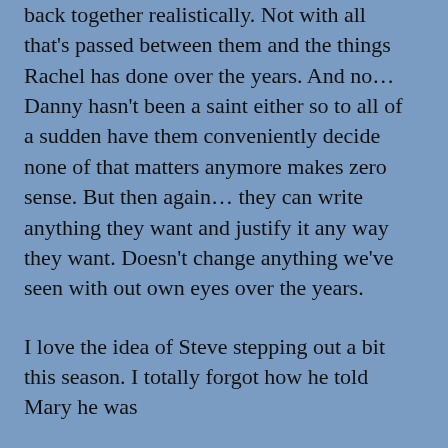back together realistically. Not with all that's passed between them and the things Rachel has done over the years. And no… Danny hasn't been a saint either so to all of a sudden have them conveniently decide none of that matters anymore makes zero sense. But then again… they can write anything they want and justify it any way they want. Doesn't change anything we've seen with out own eyes over the years.
I love the idea of Steve stepping out a bit this season. I totally forgot how he told Mary he was